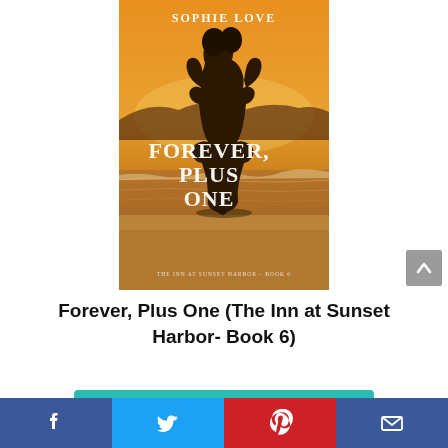[Figure (illustration): Book cover for 'Forever, Plus One (The Inn at Sunset Harbor – Book 6)' by Sophie Love. Shows two silhouettes of a couple embracing against a golden sunset beach backdrop. White serif text reads 'FOREVER, PLUS ONE' in large letters, with 'SOPHIE LOVE' at the top and small subtitle text at the bottom.]
Forever, Plus One (The Inn at Sunset Harbor- Book 6)
Verifique o preço na Amazon